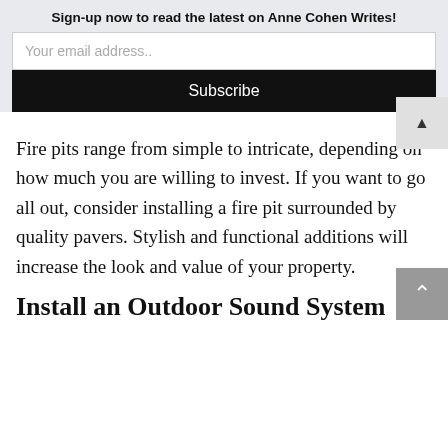Sign-up now to read the latest on Anne Cohen Writes!
Your email address..
Subscribe
Fire pits range from simple to intricate, depending on how much you are willing to invest. If you want to go all out, consider installing a fire pit surrounded by quality pavers. Stylish and functional additions will increase the look and value of your property.
Install an Outdoor Sound System